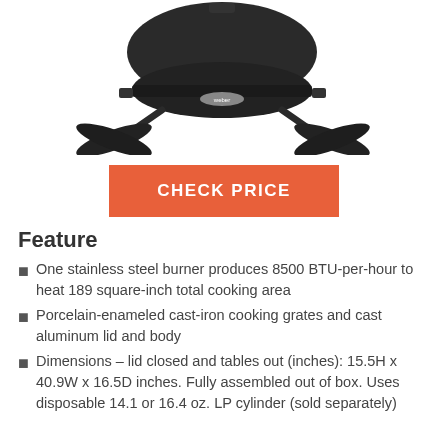[Figure (photo): Weber Q portable gas grill, black, viewed from front, sitting on its stand/legs]
CHECK PRICE
Feature
One stainless steel burner produces 8500 BTU-per-hour to heat 189 square-inch total cooking area
Porcelain-enameled cast-iron cooking grates and cast aluminum lid and body
Dimensions – lid closed and tables out (inches): 15.5H x 40.9W x 16.5D inches. Fully assembled out of box. Uses disposable 14.1 or 16.4 oz. LP cylinder (sold separately)
Temperature control with up to 5 items cut off